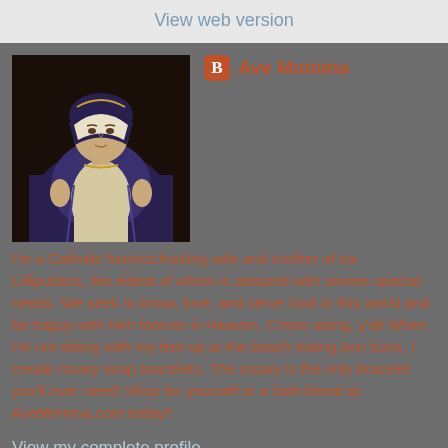View web version
Ave Momma
[Figure (illustration): Portrait illustration of the Virgin Mary wearing blue and white robes with a crown, hands raised in blessing pose, dark background]
I'm a Catholic homeschooling wife and mother of six Lilliputians, the eldest of whom is adopted with severe special needs. We seek to know, love, and serve God in this world and be happy with Him forever in Heaven. C'mon along, y'all When I'm not sitting with my feet up at the beach eating bon bons, I create rosary wrap bracelets. The rosary is the only bracelet you'll ever need! Shop for yourself or a faith-friend at AveMomma.com today!!
View my complete profile